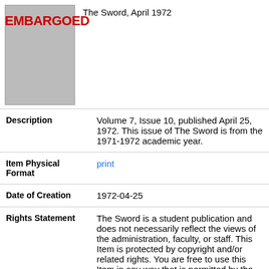[Figure (photo): Thumbnail image of The Sword newspaper front page, with red EMBARGOED text overlaid]
The Sword, April 1972
| Field | Value |
| --- | --- |
| Description | Volume 7, Issue 10, published April 25, 1972. This issue of The Sword is from the 1971-1972 academic year. |
| Item Physical Format | print |
| Date of Creation | 1972-04-25 |
| Rights Statement | The Sword is a student publication and does not necessarily reflect the views of the administration, faculty, or staff. This Item is protected by copyright and/or related rights. You are free to use this Item in any way that is permitted by the copyright and related rights legislation that applies |